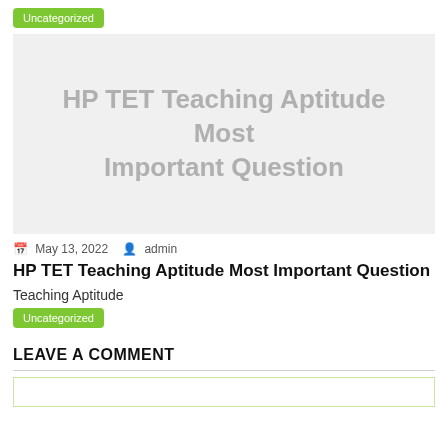Uncategorized
[Figure (other): Gray placeholder image with text 'HP TET Teaching Aptitude Most Important Question' in light gray]
May 13, 2022  admin
HP TET Teaching Aptitude Most Important Question
Teaching Aptitude
Uncategorized
LEAVE A COMMENT